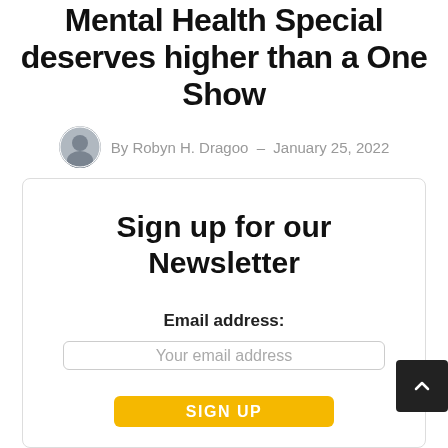Mental Health Special deserves higher than a One Show
By Robyn H. Dragoo – January 25, 2022
Sign up for our Newsletter
Email address:
Your email address
SIGN UP